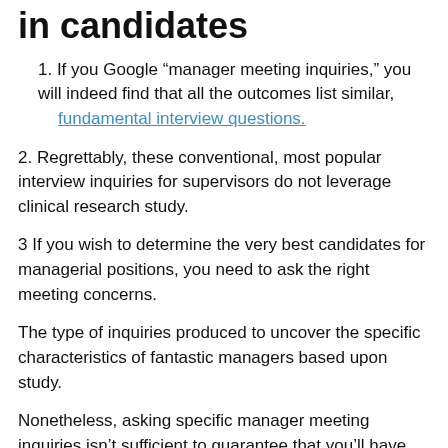in candidates
1. If you Google “manager meeting inquiries,” you will indeed find that all the outcomes list similar, fundamental interview questions.
2. Regrettably, these conventional, most popular interview inquiries for supervisors do not leverage clinical research study.
3 If you wish to determine the very best candidates for managerial positions, you need to ask the right meeting concerns.
The type of inquiries produced to uncover the specific characteristics of fantastic managers based upon study.
Nonetheless, asking specific manager meeting inquiries isn’t sufficient to guarantee that you’ll have the ability to